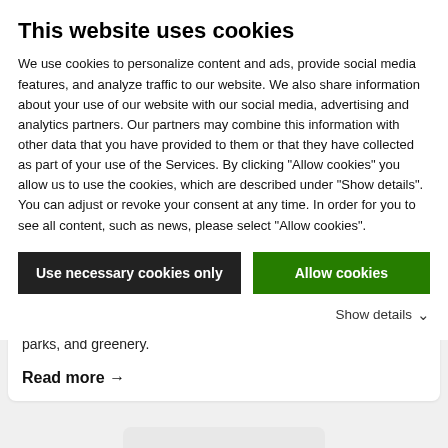This website uses cookies
We use cookies to personalize content and ads, provide social media features, and analyze traffic to our website. We also share information about your use of our website with our social media, advertising and analytics partners. Our partners may combine this information with other data that you have provided to them or that they have collected as part of your use of the Services. By clicking "Allow cookies" you allow us to use the cookies, which are described under "Show details". You can adjust or revoke your consent at any time. In order for you to see all content, such as news, please select "Allow cookies".
17,000 sq. meter landscaped courtyard that's filled with trails, parks, and greenery.
Read more →
Load more